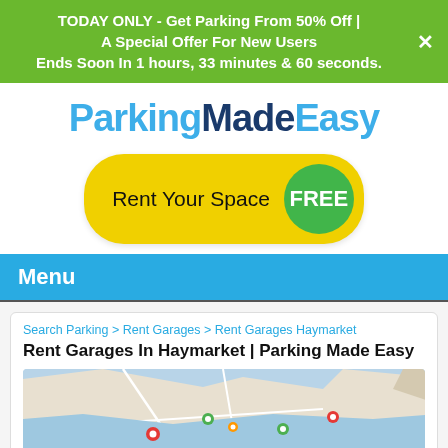TODAY ONLY - Get Parking From 50% Off | A Special Offer For New Users Ends Soon In 1 hours, 33 minutes & 60 seconds.
[Figure (logo): ParkingMadeEasy logo in blue and dark blue text]
[Figure (infographic): Yellow pill-shaped button reading 'Rent Your Space' with a green circle badge reading 'FREE']
Menu
Search Parking > Rent Garages > Rent Garages Haymarket
Rent Garages In Haymarket | Parking Made Easy
[Figure (map): Google Maps view of Haymarket area with location pins]
Access unlimited search results, maps and more.